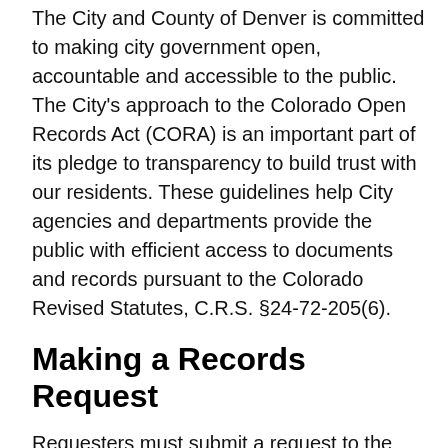The City and County of Denver is committed to making city government open, accountable and accessible to the public. The City's approach to the Colorado Open Records Act (CORA) is an important part of its pledge to transparency to build trust with our residents. These guidelines help City agencies and departments provide the public with efficient access to documents and records pursuant to the Colorado Revised Statutes, C.R.S. §24-72-205(6).
Making a Records Request
Requesters must submit a request to the agency that is the custodian of the record itself. The City does not maintain a central repository for public records or a single office that fulfills requests.